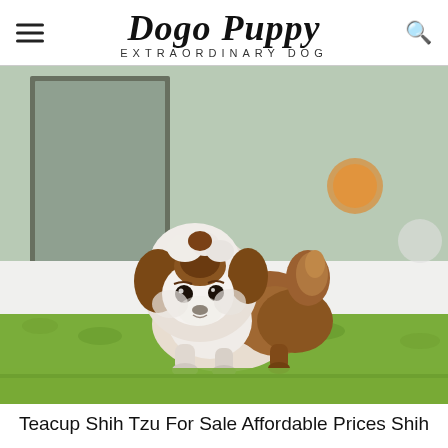Dogo Puppy — EXTRAORDINARY DOG
[Figure (photo): A tiny teacup Shih Tzu puppy standing on a bright green grass/carpet surface, with blurred indoor background. The puppy has white and brown fluffy fur, facing the camera slightly tilted.]
Teacup Shih Tzu For Sale Affordable Prices Shih